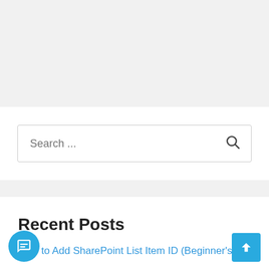[Figure (screenshot): Top navigation bar with colored segment indicators: gray, yellow, and red horizontal bars]
Search ...
Recent Posts
How to Add SharePoint List Item ID (Beginner's